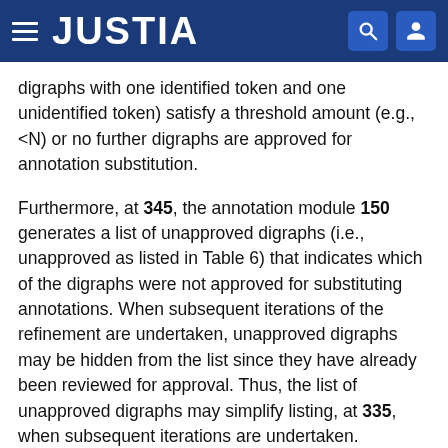JUSTIA
digraphs with one identified token and one unidentified token) satisfy a threshold amount (e.g., <N) or no further digraphs are approved for annotation substitution.
Furthermore, at 345, the annotation module 150 generates a list of unapproved digraphs (i.e., unapproved as listed in Table 6) that indicates which of the digraphs were not approved for substituting annotations. When subsequent iterations of the refinement are undertaken, unapproved digraphs may be hidden from the list since they have already been reviewed for approval. Thus, the list of unapproved digraphs may simplify listing, at 335, when subsequent iterations are undertaken.
After method 300 is complete, the computing system 100 proceeds with block 230 of method 200 which